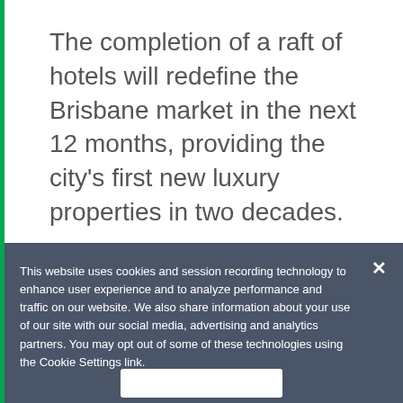The completion of a raft of hotels will redefine the Brisbane market in the next 12 months, providing the city's first new luxury properties in two decades.
18 Jun 2018
[Figure (infographic): Social media sharing icons: Facebook (f), Twitter (bird), LinkedIn (in), Email (envelope)]
The completion of a raft of hotels will redefine the
This website uses cookies and session recording technology to enhance user experience and to analyze performance and traffic on our website. We also share information about your use of our site with our social media, advertising and analytics partners. You may opt out of some of these technologies using the Cookie Settings link.